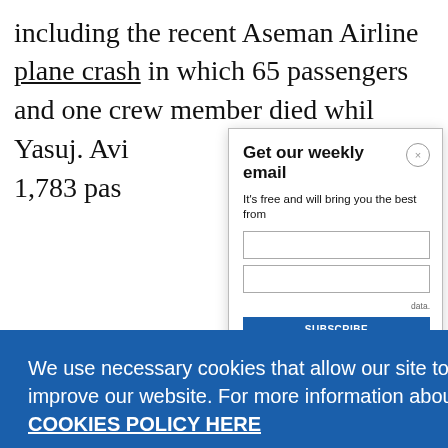including the recent Aseman Airline plane crash in which 65 passengers and one crew member died whil Yasuj. Avi 1,783 pas
Get our weekly email
It's free and will bring you the best from
We use necessary cookies that allow our site to work. We also set optional cookies that help us improve our website. For more information about the types of cookies we use. READ OUR COOKIES POLICY HERE
COOKIE SETTINGS
ALLOW ALL COOKIES
data.
same con